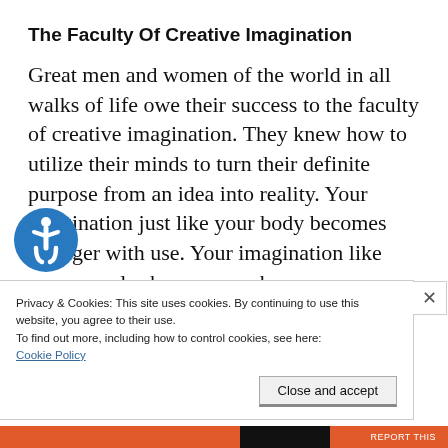The Faculty Of Creative Imagination
Great men and women of the world in all walks of life owe their success to the faculty of creative imagination. They knew how to utilize their minds to turn their definite purpose from an idea into reality. Your imagination just like your body becomes stronger with use. Your imagination like your muscles become weaker through inaction.
Privacy & Cookies: This site uses cookies. By continuing to use this website, you agree to their use.
To find out more, including how to control cookies, see here:
Cookie Policy
Close and accept